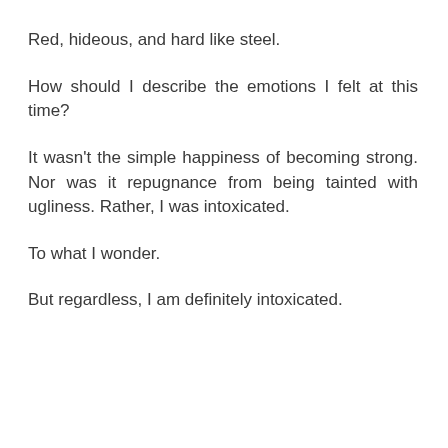Red, hideous, and hard like steel.
How should I describe the emotions I felt at this time?
It wasn't the simple happiness of becoming strong. Nor was it repugnance from being tainted with ugliness. Rather, I was intoxicated.
To what I wonder.
But regardless, I am definitely intoxicated.